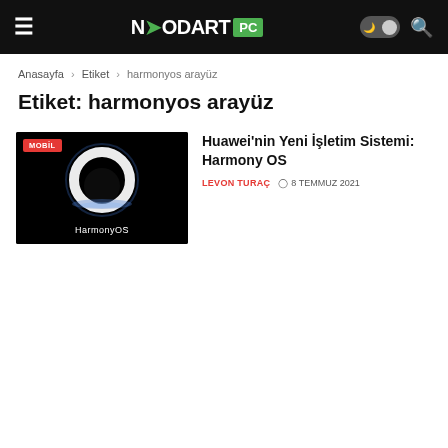MODARTPC — site navigation header
Anasayfa > Etiket > harmonyos arayüz
Etiket: harmonyos arayüz
[Figure (screenshot): HarmonyOS promotional image: glowing white ring on black background with 'HarmonyOS' text, tagged MOBIL]
Huawei'nin Yeni İşletim Sistemi: Harmony OS
LEVON TURAÇ   🕐 8 TEMMUZ 2021